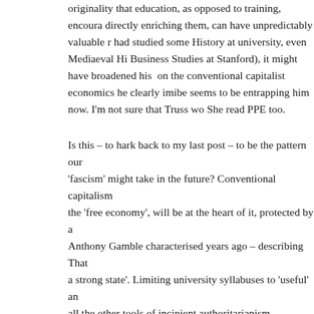originality that education, as opposed to training, encourages directly enriching them, can have unpredictably valuable results. had studied some History at university, even Mediaeval History (rather than Business Studies at Stanford), it might have broadened his perspective on the conventional capitalist economics he clearly imbibed there, which seems to be entrapping him now. I'm not sure that Truss would benefit. She read PPE too.
Is this – to hark back to my last post – to be the pattern our 'fascism' might take in the future? Conventional capitalism, especially the 'free economy', will be at the heart of it, protected by a strong state – Anthony Gamble characterised years ago – describing Thatcherism – as 'a strong state'. Limiting university syllabuses to 'useful' and vocational, all the other tools of incipient authoritarianism – effective suppression of protest, privatisation of 'free' broadcast channels, oppression of anti-Britishness, disregarding inconvenient kinds of expertise and history, manipulating voting (Cambridge Analytica), help from the Daily Mail – could well give the clue to the sort of quasi-fascism we may become.